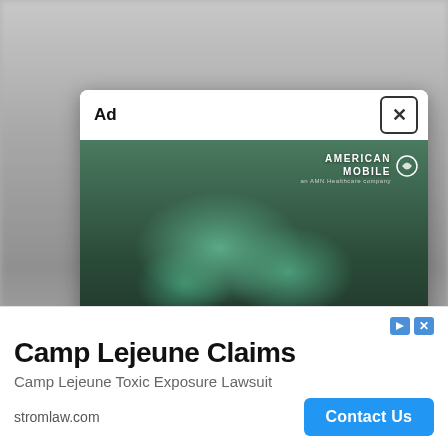[Figure (screenshot): Blurred background page behind ad popup]
X
Ad
[Figure (photo): ICU nurses in PPE/scrubs treating a patient. Text overlay reads 'ICU NURSES NEEDED' and 'APPLY TODAY'. American Mobile logo in top right corner.]
Camp Lejeune Claims
Camp Lejeune Toxic Exposure Lawsuit
stromlaw.com
Contact Us